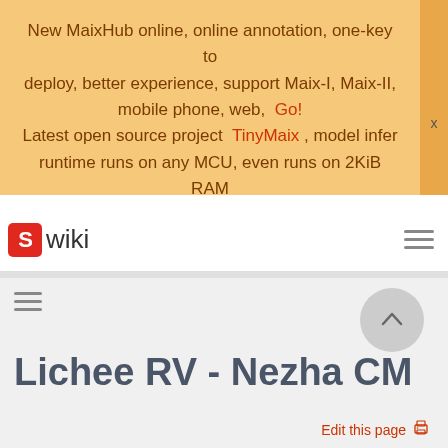New MaixHub online, online annotation, one-key to deploy, better experience, support Maix-I, Maix-II, mobile phone, web, Go! Latest open source project TinyMaix , model infer runtime runs on any MCU, even runs on 2KiB RAM chip
[Figure (logo): Sipeed Swiki logo - red square with white S letter followed by 'wiki' text]
Lichee RV - Nezha CM
Edit this page